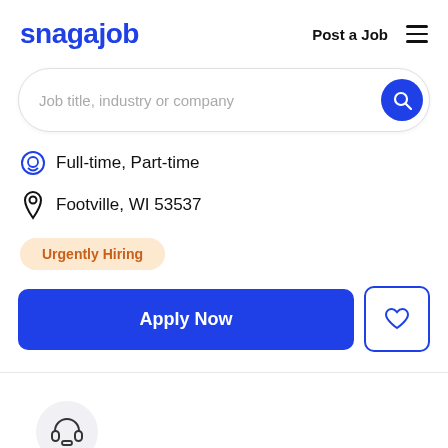snagajob   Post a Job  ☰
Job title, industry or company
Full-time, Part-time
Footville, WI 53537
Urgently Hiring
Apply Now
[Figure (illustration): Headset/customer service icon in a light gray circle]